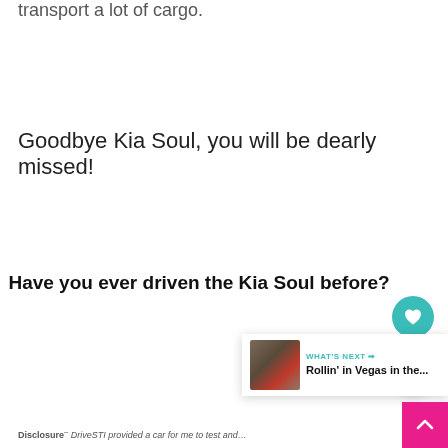transport a lot of cargo.
Goodbye Kia Soul, you will be dearly missed!
Have you ever driven the Kia Soul before?
Disclosure– DriveSTI provided a car for me to test and review, I wa…